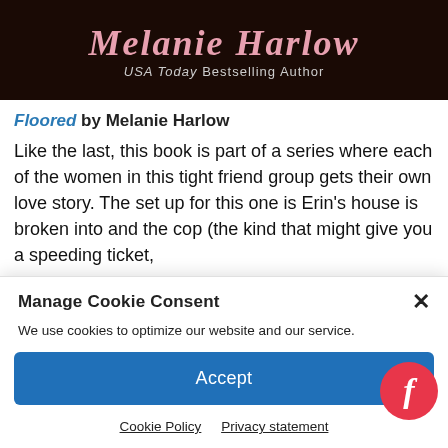[Figure (illustration): Dark banner with decorative script author name 'Melanie Harlow' in pink/rose cursive and subtitle 'USA Today Bestselling Author' in light gray sans-serif on a near-black background.]
Floored by Melanie Harlow
Like the last, this book is part of a series where each of the women in this tight friend group gets their own love story. The set up for this one is Erin’s house is broken into and the cop (the kind that might give you a speeding ticket,
Manage Cookie Consent
We use cookies to optimize our website and our service.
Accept
Cookie Policy   Privacy statement